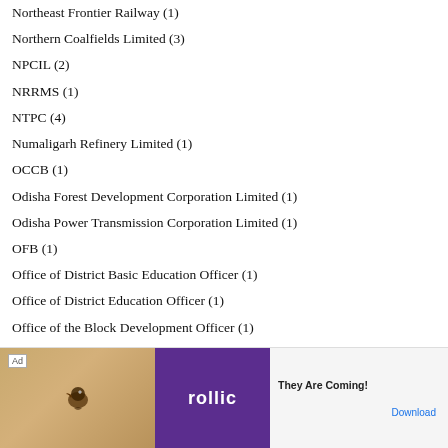Northeast Frontier Railway (1)
Northern Coalfields Limited (3)
NPCIL (2)
NRRMS (1)
NTPC (4)
Numaligarh Refinery Limited (1)
OCCB (1)
Odisha Forest Development Corporation Limited (1)
Odisha Power Transmission Corporation Limited (1)
OFB (1)
Office of District Basic Education Officer (1)
Office of District Education Officer (1)
Office of the Block Development Officer (1)
Office of the Chief Commissioner of CGST & Customs (1)
Office o…